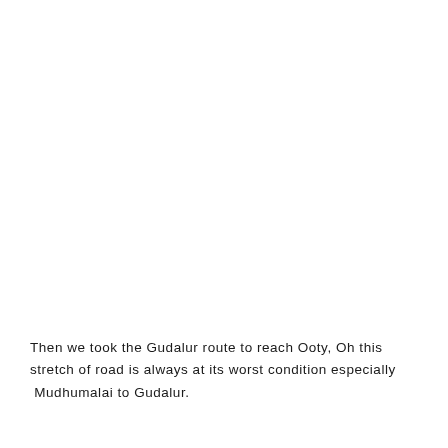Then we took the Gudalur route to reach Ooty, Oh this stretch of road is always at its worst condition especially  Mudhumalai to Gudalur.